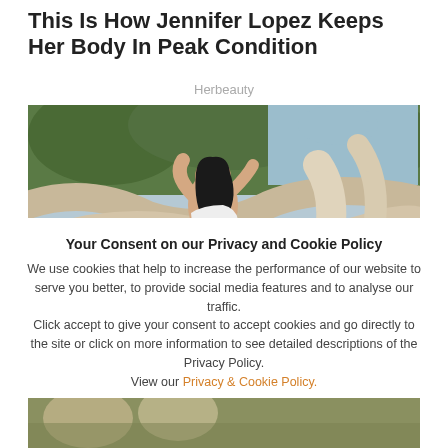This Is How Jennifer Lopez Keeps Her Body In Peak Condition
Herbeauty
[Figure (photo): Woman with black hair posing among driftwood logs on a beach, wearing a white top, head tilted back with eyes closed]
Your Consent on our Privacy and Cookie Policy
We use cookies that help to increase the performance of our website to serve you better, to provide social media features and to analyse our traffic.
Click accept to give your consent to accept cookies and go directly to the site or click on more information to see detailed descriptions of the Privacy Policy.
View our Privacy & Cookie Policy.
OK
[Figure (photo): Partial view of people at the bottom of the page, partially cut off]